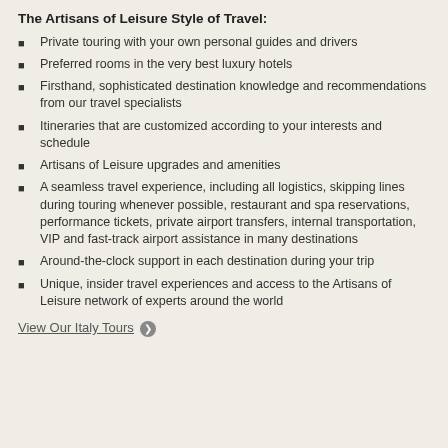The Artisans of Leisure Style of Travel:
Private touring with your own personal guides and drivers
Preferred rooms in the very best luxury hotels
Firsthand, sophisticated destination knowledge and recommendations from our travel specialists
Itineraries that are customized according to your interests and schedule
Artisans of Leisure upgrades and amenities
A seamless travel experience, including all logistics, skipping lines during touring whenever possible, restaurant and spa reservations, performance tickets, private airport transfers, internal transportation, VIP and fast-track airport assistance in many destinations
Around-the-clock support in each destination during your trip
Unique, insider travel experiences and access to the Artisans of Leisure network of experts around the world
View Our Italy Tours ❯